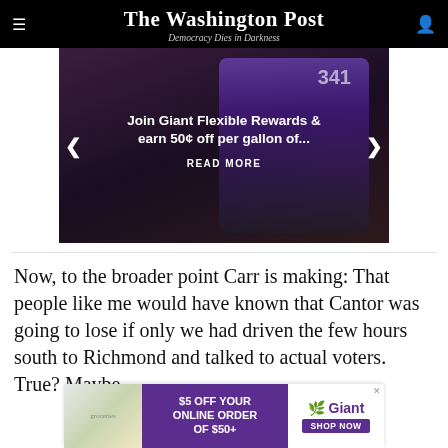The Washington Post — Democracy Dies in Darkness
[Figure (photo): Promotional banner ad for Giant Flexible Rewards showing a smartphone with a rewards app, text: 'Join Giant Flexible Rewards & earn 50¢ off per gallon of... READ MORE']
Now, to the broader point Carr is making: That people like me would have known that Cantor was going to lose if only we had driven the few hours south to Richmond and talked to actual voters. True? Maybe
[Figure (photo): Bottom advertisement: $5 OFF YOUR ONLINE ORDER OF $50+ — Giant, SHOP NOW]